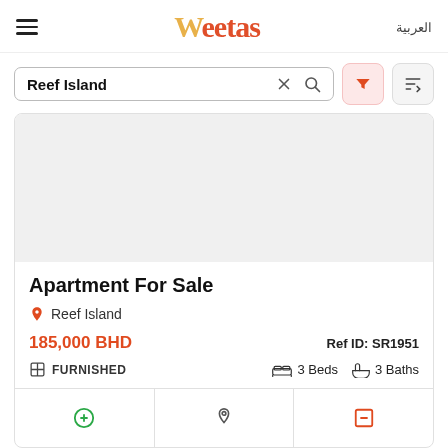Weetas
العربية
Reef Island
[Figure (screenshot): Apartment listing image placeholder (grey box)]
Apartment For Sale
Reef Island
185,000 BHD
Ref ID: SR1951
FURNISHED
3 Beds   3 Baths